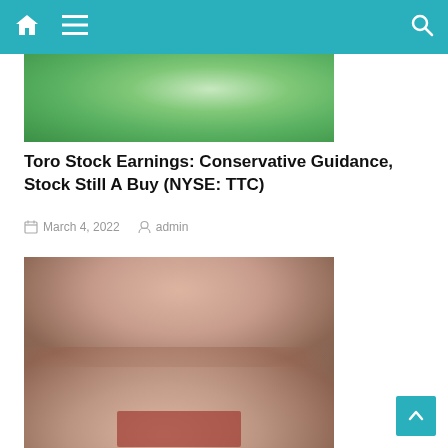Navigation bar with home, menu, and search icons
[Figure (photo): Green grass/foliage background image, partially visible at top]
Toro Stock Earnings: Conservative Guidance, Stock Still A Buy (NYSE: TTC)
March 4, 2022   admin
[Figure (photo): Blurred photo of a smiling woman holding up a contact lens on her fingertip]
Cooper Companies: A Solid Stock At A Price That Doesn't Make